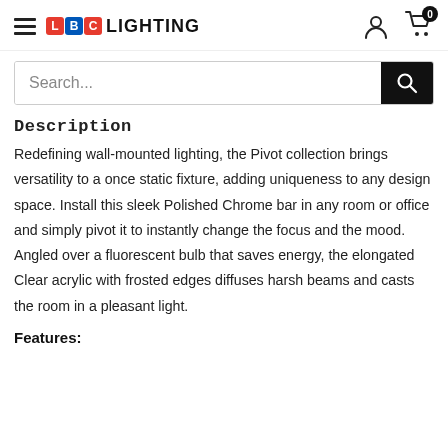LBC LIGHTING
Description
Redefining wall-mounted lighting, the Pivot collection brings versatility to a once static fixture, adding uniqueness to any design space. Install this sleek Polished Chrome bar in any room or office and simply pivot it to instantly change the focus and the mood. Angled over a fluorescent bulb that saves energy, the elongated Clear acrylic with frosted edges diffuses harsh beams and casts the room in a pleasant light.
Features: